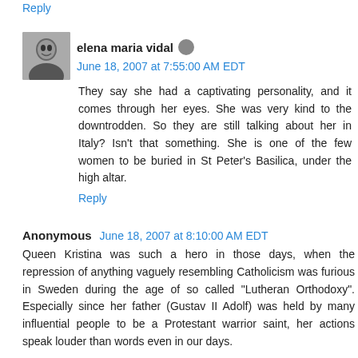Reply
elena maria vidal  June 18, 2007 at 7:55:00 AM EDT
They say she had a captivating personality, and it comes through her eyes. She was very kind to the downtrodden. So they are still talking about her in Italy? Isn't that something. She is one of the few women to be buried in St Peter's Basilica, under the high altar.
Reply
Anonymous  June 18, 2007 at 8:10:00 AM EDT
Queen Kristina was such a hero in those days, when the repression of anything vaguely resembling Catholicism was furious in Sweden during the age of so called "Lutheran Orthodoxy". Especially since her father (Gustav II Adolf) was held by many influential people to be a Protestant warrior saint, her actions speak louder than words even in our days.
In modern day Sweden we are told she was 1) a lesbian, 2)